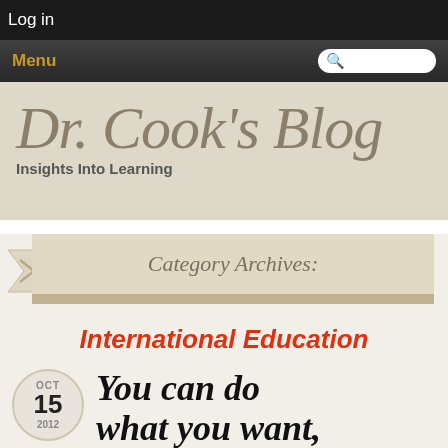Log in
Menu
Dr. Cook's Blog
Insights Into Learning
Category Archives:
International Education
OCT 15 2012
You can do what you want,